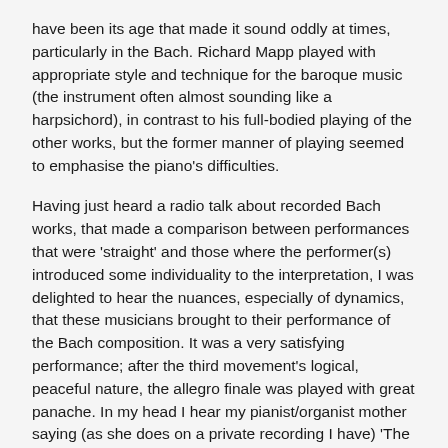have been its age that made it sound oddly at times, particularly in the Bach. Richard Mapp played with appropriate style and technique for the baroque music (the instrument often almost sounding like a harpsichord), in contrast to his full-bodied playing of the other works, but the former manner of playing seemed to emphasise the piano's difficulties.
Having just heard a radio talk about recorded Bach works, that made a comparison between performances that were 'straight' and those where the performer(s) introduced some individuality to the interpretation, I was delighted to hear the nuances, especially of dynamics, that these musicians brought to their performance of the Bach composition. It was a very satisfying performance; after the third movement's logical, peaceful nature, the allegro finale was played with great panache. In my head I hear my pianist/organist mother saying (as she does on a private recording I have) 'The piano does not bring out the notes of the tune as does the organ or the clavichord'. Mapp defied this dictum pretty successfully.